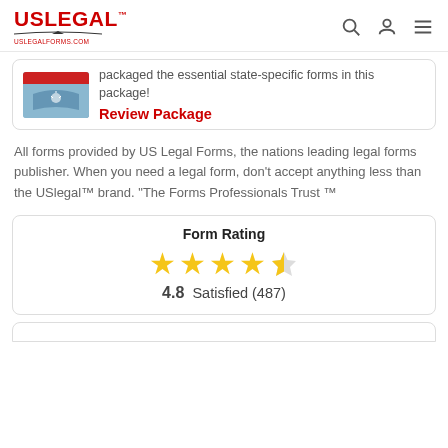USLegal™ uslegalforms.com
packaged the essential state-specific forms in this package!
Review Package
All forms provided by US Legal Forms, the nations leading legal forms publisher. When you need a legal form, don't accept anything less than the USlegal™ brand. "The Forms Professionals Trust ™
Form Rating
4.8 Satisfied (487)